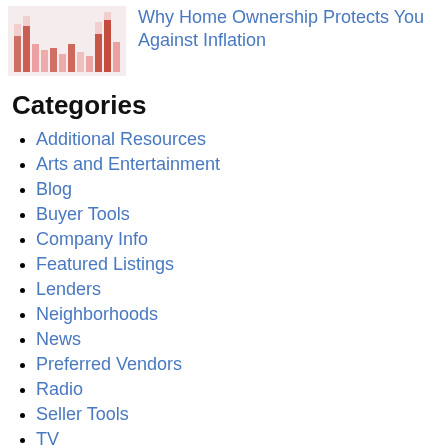[Figure (bar-chart): Thumbnail bar chart with red bars of varying heights on light background]
Why Home Ownership Protects You Against Inflation
Categories
Additional Resources
Arts and Entertainment
Blog
Buyer Tools
Company Info
Featured Listings
Lenders
Neighborhoods
News
Preferred Vendors
Radio
Seller Tools
TV